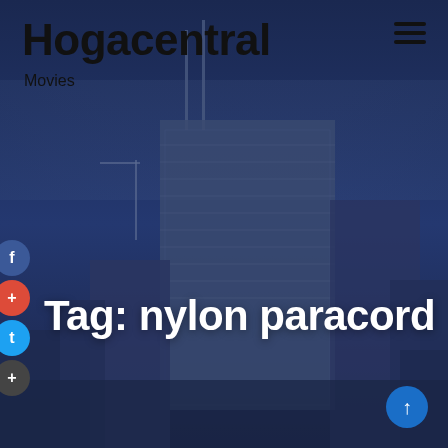Hogacentral
Movies
[Figure (screenshot): Website header screenshot for Hogacentral with dark blue cityscape background showing tall skyscrapers with antennas, hamburger menu icon top right, social media icons (Facebook, Google+, Twitter, Pinterest) on left side, and large white bold text reading 'Tag: nylon paracord' over the image. A blue scroll-to-top arrow button appears bottom right.]
Tag: nylon paracord